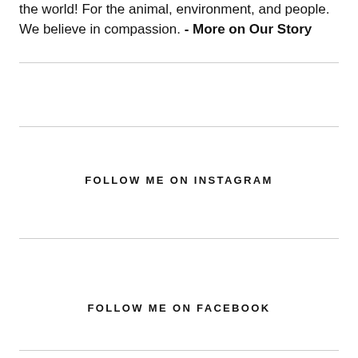the world! For the animal, environment, and people. We believe in compassion. - More on Our Story
FOLLOW ME ON INSTAGRAM
FOLLOW ME ON FACEBOOK